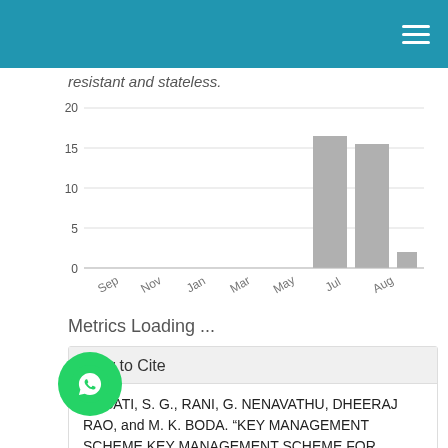resistant and stateless.
[Figure (bar-chart): ]
Metrics Loading ...
How to Cite
AMBATI, S. G., RANI, G. NENAVATHU, DHEERAJ RAO, and M. K. BODA. “KEY MANAGEMENT SCHEME KEY MANAGEMENT SCHEME FOR SECURE